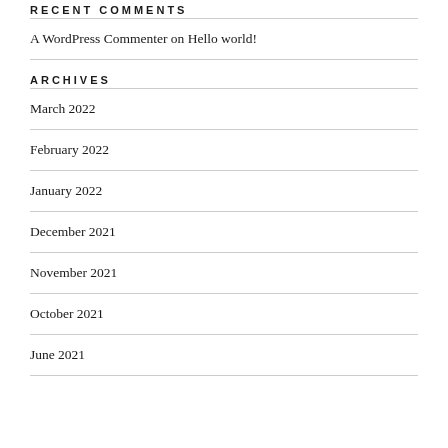RECENT COMMENTS
A WordPress Commenter on Hello world!
ARCHIVES
March 2022
February 2022
January 2022
December 2021
November 2021
October 2021
June 2021